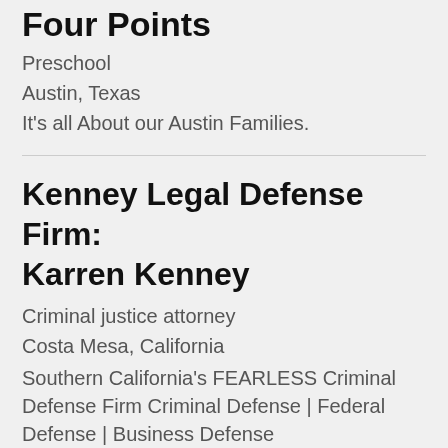Four Points
Preschool
Austin, Texas
It's all About our Austin Families.
Kenney Legal Defense Firm: Karren Kenney
Criminal justice attorney
Costa Mesa, California
Southern California's FEARLESS Criminal Defense Firm Criminal Defense | Federal Defense | Business Defense
Concrete Resurfacing Pros